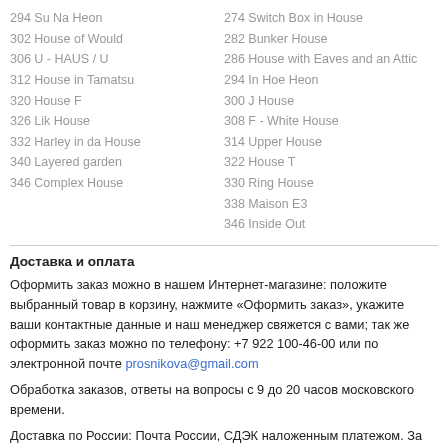294 Su Na Heon
302 House of Would
306 U - HAUS / U
312 House in Tamatsu
320 House F
326 Lik House
332 Harley in da House
340 Layered garden
346 Complex House
274 Switch Box in House
282 Bunker House
286 House with Eaves and an Attic
294 In Hoe Heon
300 J House
308 F - White House
314 Upper House
322 House T
330 Ring House
338 Maison E3
346 Inside Out
Доставка и оплата
Оформить заказ можно в нашем Интернет-магазине: положите выбранный товар в корзину, нажмите «Оформить заказ», укажите ваши контактные данные и наш менеджер свяжется с вами; так же оформить заказ можно по телефону: +7 922 100-46-00 или по электронной почте prosnikova@gmail.com
Обработка заказов, ответы на вопросы с 9 до 20 часов московского времени.
Доставка по России: Почта России, СДЭК наложенным платежом. За